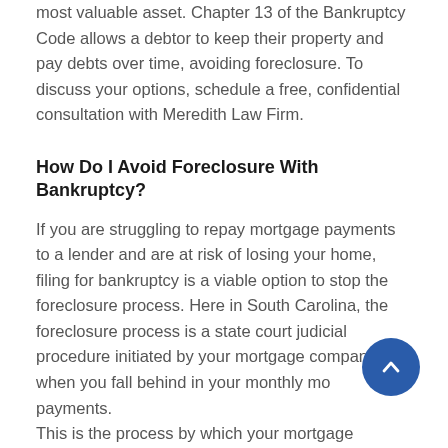most valuable asset. Chapter 13 of the Bankruptcy Code allows a debtor to keep their property and pay debts over time, avoiding foreclosure. To discuss your options, schedule a free, confidential consultation with Meredith Law Firm.
How Do I Avoid Foreclosure With Bankruptcy?
If you are struggling to repay mortgage payments to a lender and are at risk of losing your home, filing for bankruptcy is a viable option to stop the foreclosure process. Here in South Carolina, the foreclosure process is a state court judicial procedure initiated by your mortgage company when you fall behind in your monthly mortgage payments.
This is the process by which your mortgage company sells your home through a court process if you fail to make your